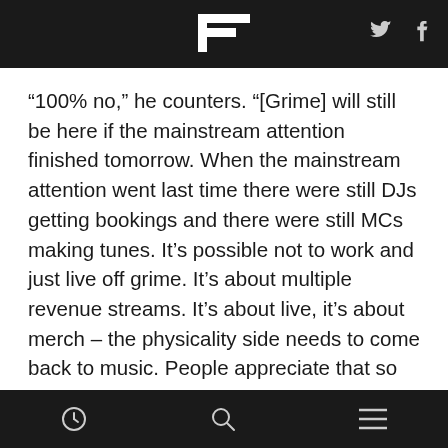F [logo] [twitter] [facebook]
“100% no,” he counters. “[Grime] will still be here if the mainstream attention finished tomorrow. When the mainstream attention went last time there were still DJs getting bookings and there were still MCs making tunes. It’s possible not to work and just live off grime. It’s about multiple revenue streams. It’s about live, it’s about merch – the physicality side needs to come back to music. People appreciate that so much more.”
The physical side was crucial to grime’s first wave. Around 2004, Wiley famously treated record shops like cash points, carving out a new release every couple of
[clock icon] [search icon] [menu icon]